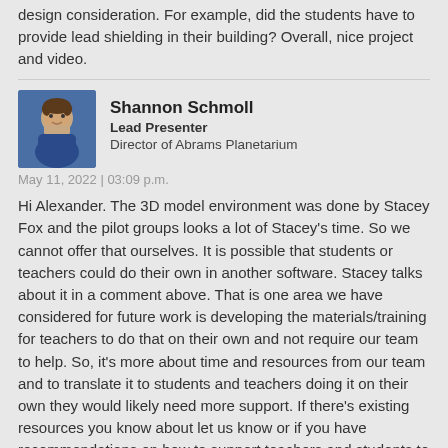design consideration. For example, did the students have to provide lead shielding in their building? Overall, nice project and video.
Shannon Schmoll
Lead Presenter
Director of Abrams Planetarium
May 11, 2022 | 03:09 p.m.
Hi Alexander. The 3D model environment was done by Stacey Fox and the pilot groups looks a lot of Stacey's time. So we cannot offer that ourselves. It is possible that students or teachers could do their own in another software. Stacey talks about it in a comment above. That is one area we have considered for future work is developing the materials/training for teachers to do that on their own and not require our team to help. So, it's more about time and resources from our team and to translate it to students and teachers doing it on their own they would likely need more support. If there's existing resources you know about let us know or if you have recommendations on how to support teachers and students to do it on their own, we would love to hear it.
As for radiation, it was something we discussed with the students.